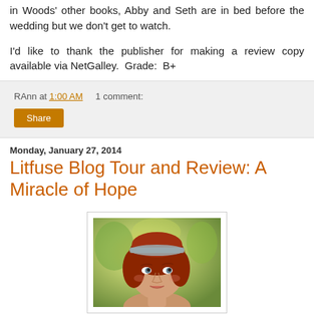in Woods' other books, Abby and Seth are in bed before the wedding but we don't get to watch.
I'd like to thank the publisher for making a review copy available via NetGalley. Grade: B+
RAnn at 1:00 AM   1 comment:
Share
Monday, January 27, 2014
Litfuse Blog Tour and Review: A Miracle of Hope
[Figure (photo): Book cover or promotional image showing a young woman with red hair and a gray headband, in front of a warm golden-green outdoor background.]